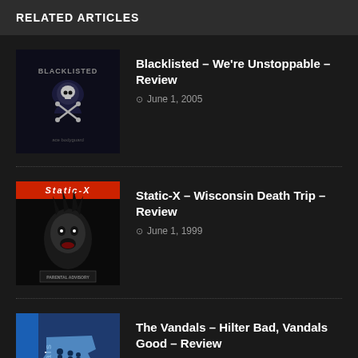RELATED ARTICLES
Blacklisted – We're Unstoppable – Review, June 1, 2005
Static-X – Wisconsin Death Trip – Review, June 1, 1999
The Vandals – Hilter Bad, Vandals Good – Review, November 1, 1998